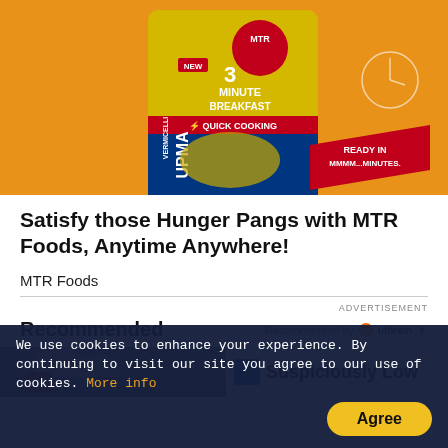[Figure (photo): MTR Foods advertisement image showing a yellow packet of MTR 3 Minute Breakfast Vermicelli Upma with text 'READY IN MMMM...MINUTES.' on an orange background]
Satisfy those Hunger Pangs with MTR Foods, Anytime Anywhere!
MTR Foods
ADVERTISEMENT
Recommended
Recommended by Outbrain
[Figure (photo): Two thumbnail images at bottom: left shows people at an event, right shows Lidl logo with text 'Suspiciously Low']
We use cookies to enhance your experience. By continuing to visit our site you agree to our use of cookies. More info